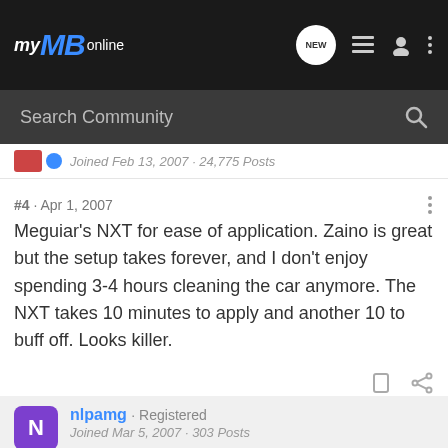my MB online
Search Community
Joined Feb 13, 2007 · 24,775 Posts
#4 · Apr 1, 2007
Meguiar's NXT for ease of application. Zaino is great but the setup takes forever, and I don't enjoy spending 3-4 hours cleaning the car anymore. The NXT takes 10 minutes to apply and another 10 to buff off. Looks killer.
nlpamg · Registered
Joined Mar 5, 2007 · 303 Posts